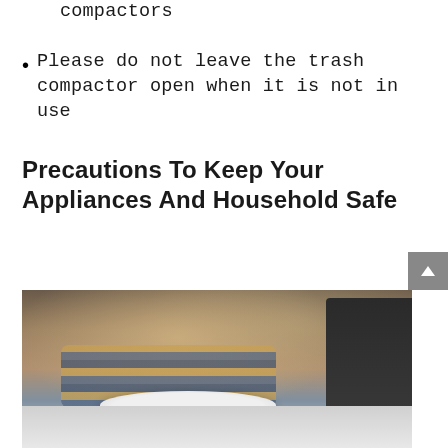compactors
Please do not leave the trash compactor open when it is not in use
Precautions To Keep Your Appliances And Household Safe
[Figure (photo): A child placing a plate with a spoon into a trash compactor or appliance, with an adult's hand visible near the appliance door. The child is wearing a striped sweater.]